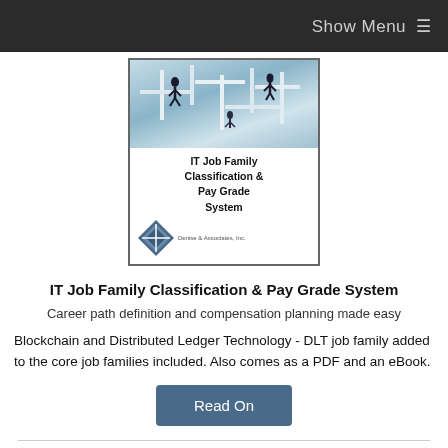Show Menu ≡
[Figure (illustration): Book cover for 'IT Job Family Classification & Pay Grade System' showing people climbing in a maze-like structure, with a diamond logo in bottom-left]
IT Job Family Classification & Pay Grade System
Career path definition and compensation planning made easy
Blockchain and Distributed Ledger Technology - DLT job family added to the core job families included. Also comes as a PDF and an eBook.
Read On
Hot New Job Titles